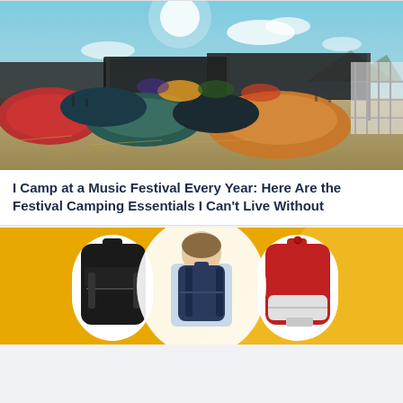[Figure (photo): Aerial/wide view of colorful camping tents crowded together at an outdoor music festival, with a large black canopy structure, festival-goers, straw/hay ground cover, and mountains in the background under a partly cloudy sky.]
I Camp at a Music Festival Every Year: Here Are the Festival Camping Essentials I Can't Live Without
[Figure (photo): Promotional image on a yellow background showing three backpacks: a black backpack on the left, a person wearing a navy blue backpack in the center (seen from behind), and a red Herschel-style backpack on the right.]